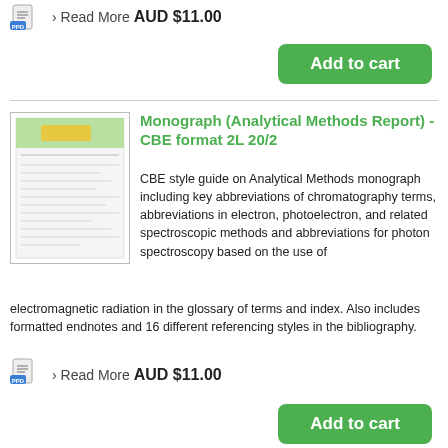[Figure (logo): PPD document icon with blue badge]
› Read More  AUD $11.00
Add to cart
Monograph (Analytical Methods Report) - CBE format 2L 20/2
CBE style guide on Analytical Methods monograph including key abbreviations of chromatography terms, abbreviations in electron, photoelectron, and related spectroscopic methods and abbreviations for photon spectroscopy based on the use of electromagnetic radiation in the glossary of terms and index. Also includes formatted endnotes and 16 different referencing styles in the bibliography.
[Figure (logo): PPD document icon with blue badge]
› Read More  AUD $11.00
Add to cart